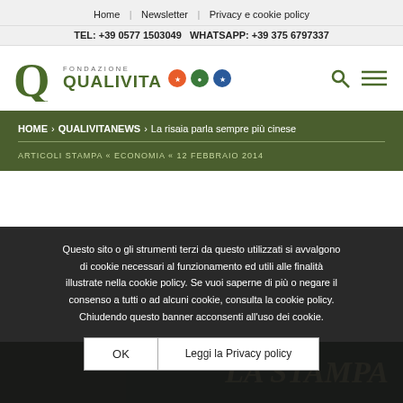Home | Newsletter | Privacy e cookie policy
TEL: +39 0577 1503049 WHATSAPP: +39 375 6797337
[Figure (logo): Fondazione Qualivita logo with green Q letter, text FONDAZIONE QUALIVITA and colored certification badge circles]
HOME > QUALIVITANEWS > La risaia parla sempre più cinese
ARTICOLI STAMPA « ECONOMIA « 12 febbraio 2014
Questo sito o gli strumenti terzi da questo utilizzati si avvalgono di cookie necessari al funzionamento ed utili alle finalità illustrate nella cookie policy. Se vuoi saperne di più o negare il consenso a tutti o ad alcuni cookie, consulta la cookie policy. Chiudendo questo banner acconsenti all'uso dei cookie.
OK
Leggi la Privacy policy